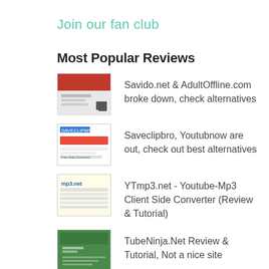Join our fan club
Most Popular Reviews
Savido.net & AdultOffline.com broke down, check alternatives
Saveclipbro, Youtubnow are out, check out best alternatives
YTmp3.net - Youtube-Mp3 Client Side Converter (Review & Tutorial)
TubeNinja.Net Review & Tutorial, Not a nice site
y2mate.com Review and Tutorial (download youtube mp3 with Y2Mate)
Offliberty Not Working Properly Anymore (Temporary?)